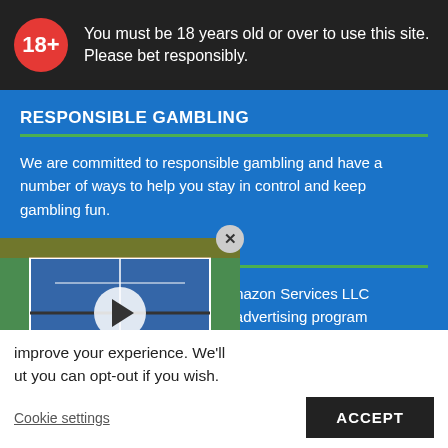[Figure (infographic): Dark banner with red '18+' badge and text: You must be 18 years old or over to use this site. Please bet responsibly.]
RESPONSIBLE GAMBLING
We are committed to responsible gambling and have a number of ways to help you stay in control and keep gambling fun.
LEGAL INFORMATION
This site is a participant in the Amazon Services LLC Associates Program, an affiliate advertising program designed to provide a means for sites to earn advertising fees by advertising and linking to [amazon.com]. We are also compensated for referring traffic and business to Amazon and other companies linked to on this site.
[Figure (screenshot): Video thumbnail of a tennis match with play button overlay and score overlay at bottom left.]
improve your experience. We'll ut you can opt-out if you wish.
Cookie settings
ACCEPT